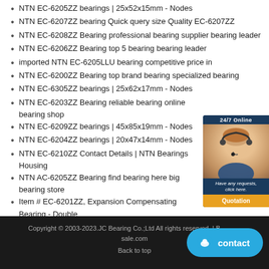NTN EC-6205ZZ bearings | 25x52x15mm - Nodes
NTN EC-6207ZZ bearing Quick query size Quality EC-6207ZZ
NTN EC-6208ZZ Bearing professional bearing supplier bearing leader
NTN EC-6206ZZ Bearing top 5 bearing bearing leader
imported NTN EC-6205LLU bearing competitive price in
NTN EC-6200ZZ Bearing top brand bearing specialized bearing
NTN EC-6305ZZ bearings | 25x62x17mm - Nodes
NTN EC-6203ZZ Bearing reliable bearing online bearing shop
NTN EC-6209ZZ bearings | 45x85x19mm - Nodes
NTN EC-6204ZZ bearings | 20x47x14mm - Nodes
NTN EC-6210ZZ Contact Details | NTN Bearings Housing
NTN AC-6205ZZ Bearing find bearing here big bearing store
Item # EC-6201ZZ, Expansion Compensating Bearing - Double
NTN AC-6200ZZ Bearing online bearing catalog original bearing size
NTN EC-6305LLU Bearing authorized bearing buy bearing
NTN EC-6207 Bearing bearing cooperation world bearing supply
NTN EC-6008ZZ bearings | 40x68x15mm - Nodes
Copyright © 2003-2023.JC Bearing Co.;Ltd All rights reserved. | bearing-sale.com
Back to top